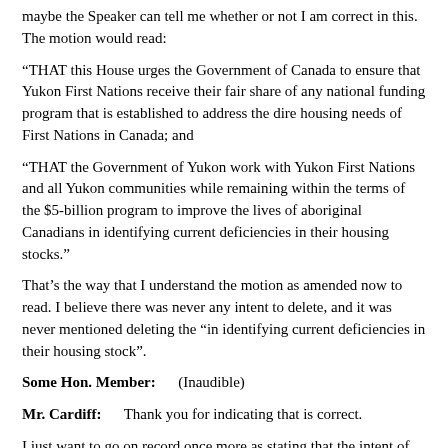maybe the Speaker can tell me whether or not I am correct in this. The motion would read:
“THAT this House urges the Government of Canada to ensure that Yukon First Nations receive their fair share of any national funding program that is established to address the dire housing needs of First Nations in Canada; and
“THAT the Government of Yukon work with Yukon First Nations and all Yukon communities while remaining within the terms of the $5-billion program to improve the lives of aboriginal Canadians in identifying current deficiencies in their housing stocks.”
That’s the way that I understand the motion as amended now to read. I believe there was never any intent to delete, and it was never mentioned deleting the “in identifying current deficiencies in their housing stock”.
Some Hon. Member:      (Inaudible)
Mr. Cardiff:      Thank you for indicating that is correct.
I just want to go on record once more as stating that the intent of including Yukon communities in our amendment was in relation to, again, the preamble to the original motion, which was the fact that